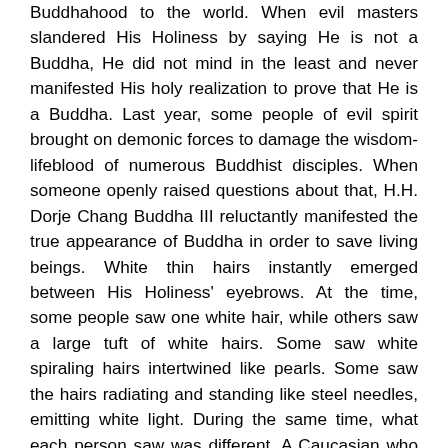Buddhahood to the world. When evil masters slandered His Holiness by saying He is not a Buddha, He did not mind in the least and never manifested His holy realization to prove that He is a Buddha. Last year, some people of evil spirit brought on demonic forces to damage the wisdom-lifeblood of numerous Buddhist disciples. When someone openly raised questions about that, H.H. Dorje Chang Buddha III reluctantly manifested the true appearance of Buddha in order to save living beings. White thin hairs instantly emerged between His Holiness' eyebrows. At the time, some people saw one white hair, while others saw a large tuft of white hairs. Some saw white spiraling hairs intertwined like pearls. Some saw the hairs radiating and standing like steel needles, emitting white light. During the same time, what each person saw was different. A Caucasian who was a high government official said that he did not see the white hairs but did see two completely different visages of H.H. Dorje Chang Buddha III within one minute! When H.H. Dorje Chang Buddha III manifested His sambhogakaya appearance as a Buddha, His entire face became the bright and beautiful color of red coral.